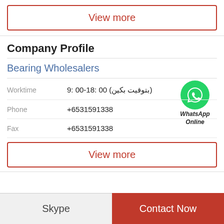View more
Company Profile
Bearing Wholesalers
| Field | Value |
| --- | --- |
| Worktime | 9: 00-18: 00 (بتوقيت بكين) |
| Phone | +6531591338 |
| Fax | +6531591338 |
[Figure (logo): WhatsApp green circle icon with phone handset, labeled WhatsApp Online in bold italic]
View more
Skype
Contact Now